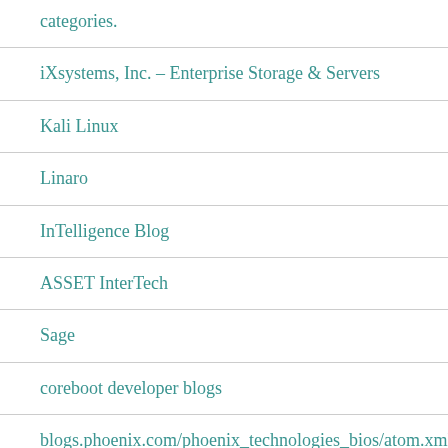categories.
iXsystems, Inc. – Enterprise Storage & Servers
Kali Linux
Linaro
InTelligence Blog
ASSET InterTech
Sage
coreboot developer blogs
blogs.phoenix.com/phoenix_technologies_bios/atom.xml
Linaro Blog